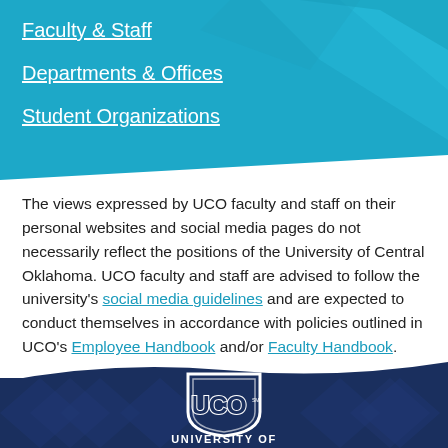Faculty & Staff
Departments & Offices
Student Organizations
The views expressed by UCO faculty and staff on their personal websites and social media pages do not necessarily reflect the positions of the University of Central Oklahoma. UCO faculty and staff are advised to follow the university's social media guidelines and are expected to conduct themselves in accordance with policies outlined in UCO's Employee Handbook and/or Faculty Handbook.
[Figure (logo): UCO (University of Central Oklahoma) shield logo in white on dark navy blue background]
UNIVERSITY OF